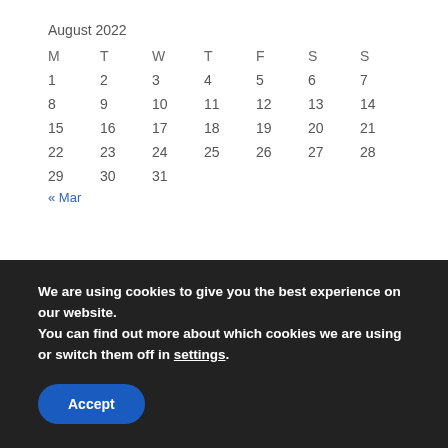August 2022
| M | T | W | T | F | S | S |
| --- | --- | --- | --- | --- | --- | --- |
| 1 | 2 | 3 | 4 | 5 | 6 | 7 |
| 8 | 9 | 10 | 11 | 12 | 13 | 14 |
| 15 | 16 | 17 | 18 | 19 | 20 | 21 |
| 22 | 23 | 24 | 25 | 26 | 27 | 28 |
| 29 | 30 | 31 |  |  |  |  |
« Mar
CONTACT FORM
We are using cookies to give you the best experience on our website.
You can find out more about which cookies we are using or switch them off in settings.